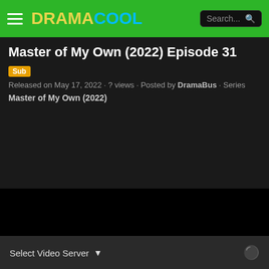DRAMACOOL
Master of My Own (2022) Episode 31
Sub Released on May 17, 2022 · ? views · Posted by DramaBus · Series Master of My Own (2022)
[Figure (other): Black video player area (video not loaded)]
Select Video Server ▾